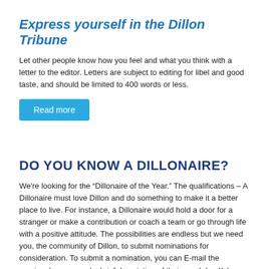Express yourself in the Dillon Tribune
Let other people know how you feel and what you think with a letter to the editor. Letters are subject to editing for libel and good taste, and should be limited to 400 words or less.
Read more
DO YOU KNOW A DILLONAIRE?
We're looking for the “Dillonaire of the Year.” The qualifications – A Dillonaire must love Dillon and do something to make it a better place to live. For instance, a Dillonaire would hold a door for a stranger or make a contribu tion or coach a team or go through life with a positive attitude. The possibilities are endless but we need you, the community of Dillon, to submit nominations for consideration. To submit a nomination, you can E-mail the nominee’s name and a brief description of their good deed(s) or positive contributions to editor@ dillontribune.com, mail to The Dillon Tribune at P.O. Box 911, or drop off the nomination at our office at 31 S. Idaho St.